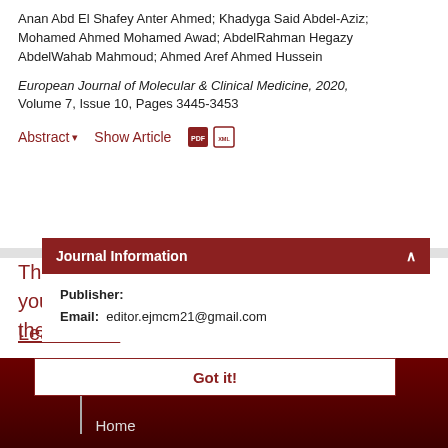Anan Abd El Shafey Anter Ahmed; Khadyga Said Abdel-Aziz; Mohamed Ahmed Mohamed Awad; AbdelRahman Hegazy AbdelWahab Mahmoud; Ahmed Aref Ahmed Hussein
European Journal of Molecular & Clinical Medicine, 2020, Volume 7, Issue 10, Pages 3445-3453
Abstract ▾    Show Article    [PDF icon] [XML icon]
This website uses cookies to ensure you get the best experience on our website
Learn more
Journal Information
Publisher:
Email:  editor.ejmcm21@gmail.com
Got it!
Home